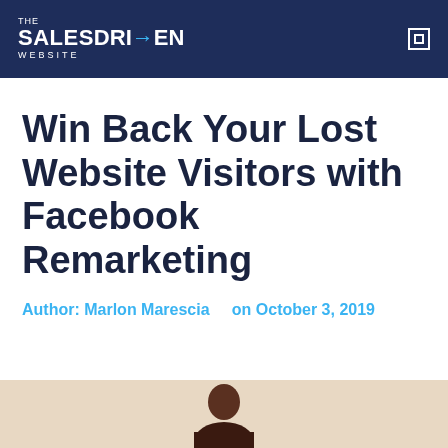THE SALES DRIVEN WEBSITE
Win Back Your Lost Website Visitors with Facebook Remarketing
Author: Marlon Marescia   on October 3, 2019
[Figure (photo): Bottom portion of a page showing a person's head/shoulders against a light beige background]